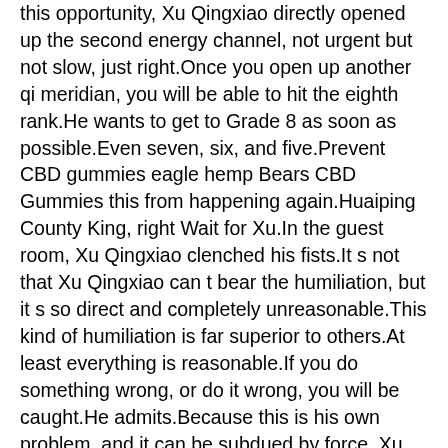this opportunity, Xu Qingxiao directly opened up the second energy channel, not urgent but not slow, just right.Once you open up another qi meridian, you will be able to hit the eighth rank.He wants to get to Grade 8 as soon as possible.Even seven, six, and five.Prevent CBD gummies eagle hemp Bears CBD Gummies this from happening again.Huaiping County King, right Wait for Xu.In the guest room, Xu Qingxiao clenched his fists.It s not that Xu Qingxiao can t bear the humiliation, but it s so direct and completely unreasonable.This kind of humiliation is far superior to others.At least everything is reasonable.If you do something wrong, or do it wrong, you will be caught.He admits.Because this is his own problem, and it can be subdued by force, Xu Qingxiao will only be more unyielding.
What they care about is other people s eyes.They don t expect anything, they just want others to treat them as normal people.Eunuch Li, I m not an idle person.They look down on others, but I won t.Eunuch Li, Xu has nothing else to say.If Eunuch Li gains power one day, don t forget it.Brother me.Xu Qingxiao said with a smile.As soon as he said this, Li Xian was even more moved.He